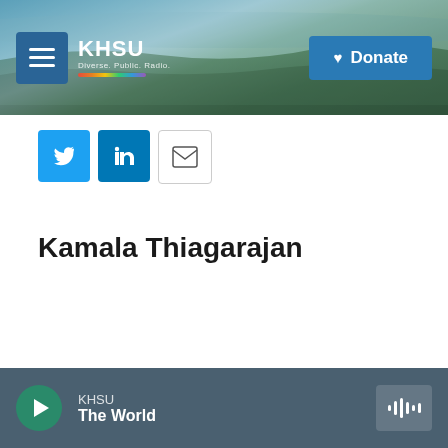[Figure (screenshot): KHSU radio website header with menu button, KHSU logo with rainbow bar, coastal landscape background, and Donate button]
[Figure (infographic): Social sharing icons: Twitter (blue bird), LinkedIn (blue 'in'), and Email (envelope)]
Kamala Thiagarajan
KHSU The World — audio player bar with play button and waveform icon